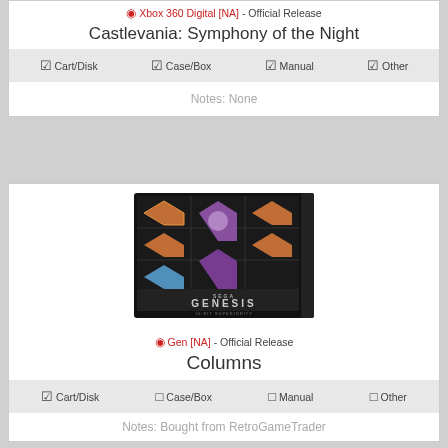Xbox 360 Digital [NA] - Official Release
Castlevania: Symphony of the Night
☑ Cart/Disk  ☑ Case/Box  ☑ Manual  ☑ Other
Notes: None
[Figure (photo): Sega Genesis cartridge for Columns game]
Gen [NA] - Official Release
Columns
☑ Cart/Disk  ☐ Case/Box  ☐ Manual  ☐ Other
Notes: Bought from RetroGameTrader